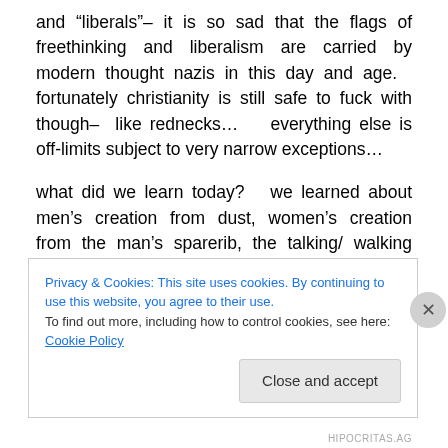and “liberals”– it is so sad that the flags of freethinking and liberalism are carried by modern thought nazis in this day and age.   fortunately christianity is still safe to fuck with though–  like rednecks…   everything else is off-limits subject to very narrow exceptions…
what did we learn today?   we learned about men’s creation from dust, women’s creation from the man’s sparerib, the talking/ walking snake and noah’s dick.  we also shed light on the extinction of dinosaurs.  now we should be clearer about the roots and doctrines of
Privacy & Cookies: This site uses cookies. By continuing to use this website, you agree to their use.
To find out more, including how to control cookies, see here: Cookie Policy
Close and accept
HIPOCRITAS.AG